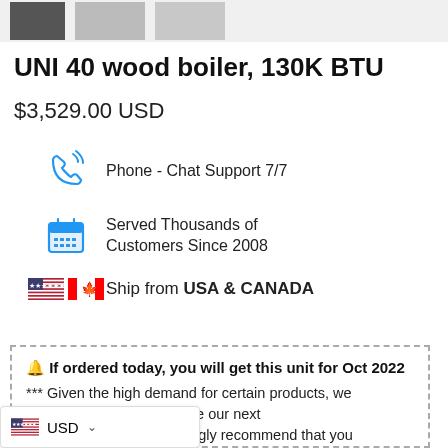[Figure (photo): Partial product images cropped at top of page]
UNI 40 wood boiler, 130K BTU
$3,529.00 USD
Phone - Chat Support  7/7
Served Thousands of Customers Since 2008
Ship from  USA & CANADA
🔔 If ordered today, you will get this unit for Oct 2022
*** Given the high demand for certain products, we already sold-out by the time our next shipment arrives. We strongly recommend that you
🇺🇸 USD ∨